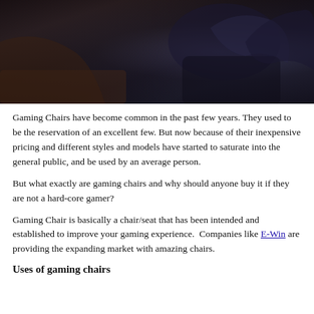[Figure (photo): Dark photograph showing part of a gaming chair against a dark background]
Gaming Chairs have become common in the past few years. They used to be the reservation of an excellent few. But now because of their inexpensive pricing and different styles and models have started to saturate into the general public, and be used by an average person.
But what exactly are gaming chairs and why should anyone buy it if they are not a hard-core gamer?
Gaming Chair is basically a chair/seat that has been intended and established to improve your gaming experience.  Companies like E-Win are providing the expanding market with amazing chairs.
Uses of gaming chairs